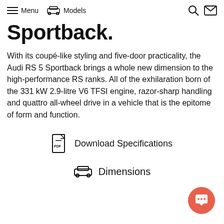Menu  Models
Sportback.
With its coupé-like styling and five-door practicality, the Audi RS 5 Sportback brings a whole new dimension to the high-performance RS ranks. All of the exhilaration born of the 331 kW 2.9-litre V6 TFSI engine, razor-sharp handling and quattro all-wheel drive in a vehicle that is the epitome of form and function.
Download Specifications
Dimensions